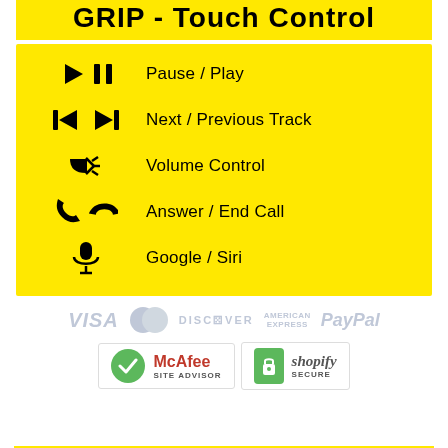GRIP - Touch Control
Pause / Play
Next / Previous Track
Volume Control
Answer / End Call
Google / Siri
[Figure (logo): Payment method logos: VISA, MasterCard, DISCOVER, AMERICAN EXPRESS, PayPal]
[Figure (logo): Trust badges: McAfee Site Advisor and Shopify Secure]